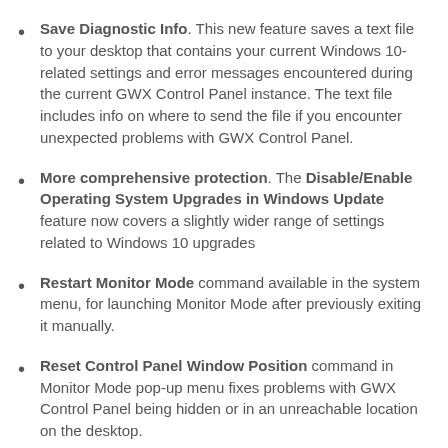Save Diagnostic Info. This new feature saves a text file to your desktop that contains your current Windows 10-related settings and error messages encountered during the current GWX Control Panel instance. The text file includes info on where to send the file if you encounter unexpected problems with GWX Control Panel.
More comprehensive protection. The Disable/Enable Operating System Upgrades in Windows Update feature now covers a slightly wider range of settings related to Windows 10 upgrades
Restart Monitor Mode command available in the system menu, for launching Monitor Mode after previously exiting it manually.
Reset Control Panel Window Position command in Monitor Mode pop-up menu fixes problems with GWX Control Panel being hidden or in an unreachable location on the desktop.